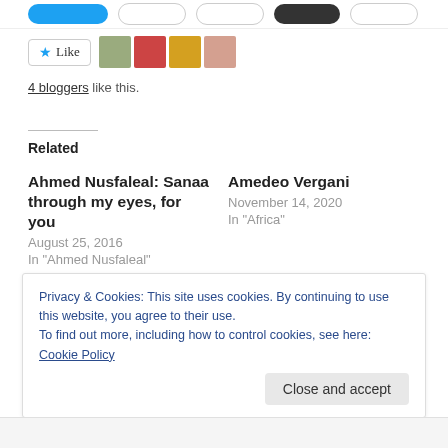[Figure (screenshot): Top navigation bar with social share buttons (blue button, outline buttons, dark button)]
[Figure (screenshot): Like button with star icon and four blogger avatar thumbnails]
4 bloggers like this.
Related
Ahmed Nusfaleal: Sanaa through my eyes, for you
August 25, 2016
In "Ahmed Nusfaleal"
Amedeo Vergani
November 14, 2020
In "Africa"
The Nile Blues of Danilo Vallarino
June 16, 2016
Privacy & Cookies: This site uses cookies. By continuing to use this website, you agree to their use.
To find out more, including how to control cookies, see here: Cookie Policy